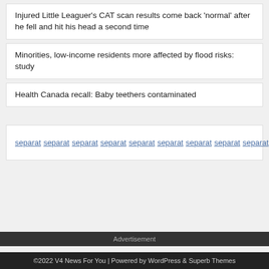Injured Little Leaguer's CAT scan results come back 'normal' after he fell and hit his head a second time
Minorities, low-income residents more affected by flood risks: study
Health Canada recall: Baby teethers contaminated
separat separat separat separat separat separat separat separat separat separat separat separat separat separat
Advertisement
©2022 V4 News For You | Powered by WordPress & Superb Themes